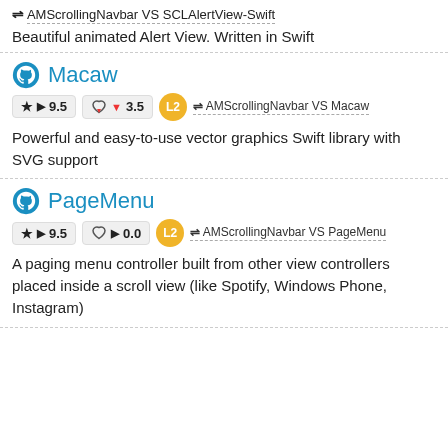⇌ AMScrollingNavbar VS SCLAlertView-Swift
Beautiful animated Alert View. Written in Swift
Macaw
★ ▶ 9.5   ♥ ▼ 3.5   L2   ⇌ AMScrollingNavbar VS Macaw
Powerful and easy-to-use vector graphics Swift library with SVG support
PageMenu
★ ▶ 9.5   ♥ ▶ 0.0   L2   ⇌ AMScrollingNavbar VS PageMenu
A paging menu controller built from other view controllers placed inside a scroll view (like Spotify, Windows Phone, Instagram)